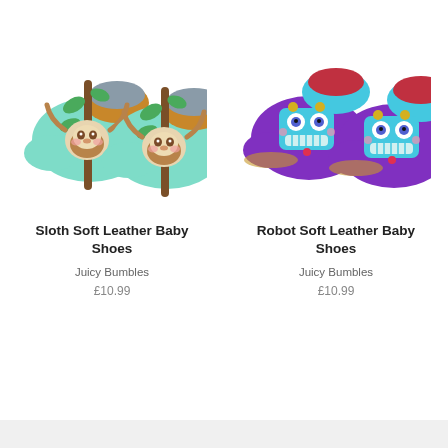[Figure (photo): Pair of mint green soft leather baby shoes with a cute sloth character hanging on a branch, brown accents on the heel]
Sloth Soft Leather Baby Shoes
Juicy Bumbles
£10.99
[Figure (photo): Pair of purple soft leather baby shoes with a smiling teal/blue robot character appliqué, light blue lining]
Robot Soft Leather Baby Shoes
Juicy Bumbles
£10.99